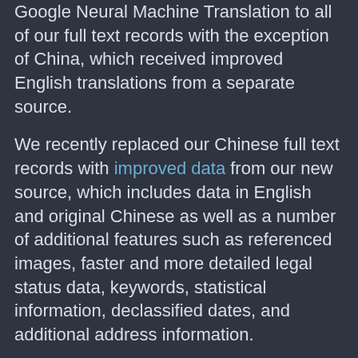Google Neural Machine Translation to all of our full text records with the exception of China, which received improved English translations from a separate source.
We recently replaced our Chinese full text records with improved data from our new source, which includes data in English and original Chinese as well as a number of additional features such as referenced images, faster and more detailed legal status data, keywords, statistical information, declassified dates, and additional address information.
These reloads replaced earlier translations with much higher-quality text and increased the speed with which translations are available. For Chinese records, English translations are now available one day after the publication date.